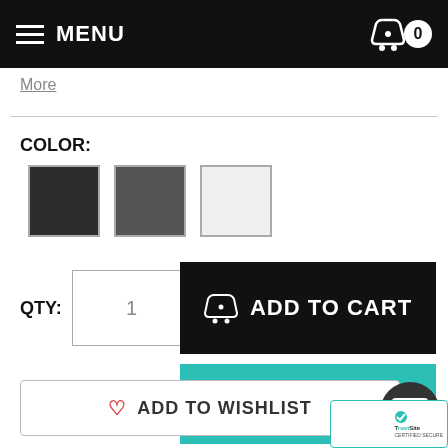MENU  0
More
COLOR:
[Figure (other): Three color swatches: dark charcoal, medium gray, light gray/white]
QTY:  1
ADD TO CART
MAKE AN OFFER
ADD TO WISHLIST
[Figure (logo): TrustSite Certified Secure badge with envelope icon]